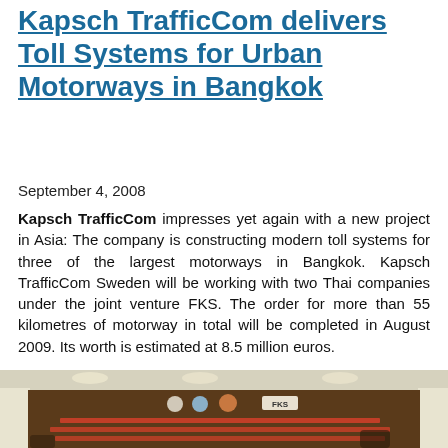Kapsch TrafficCom delivers Toll Systems for Urban Motorways in Bangkok
September 4, 2008
Kapsch TrafficCom impresses yet again with a new project in Asia: The company is constructing modern toll systems for three of the largest motorways in Bangkok. Kapsch TrafficCom Sweden will be working with two Thai companies under the joint venture FKS. The order for more than 55 kilometres of motorway in total will be completed in August 2009. Its worth is estimated at 8.5 million euros.
[Figure (photo): Photo of a press conference or event banner with Thai text and logos including FKS, displayed in an ornate room with columns and ceiling lights. People visible at the bottom of the image.]